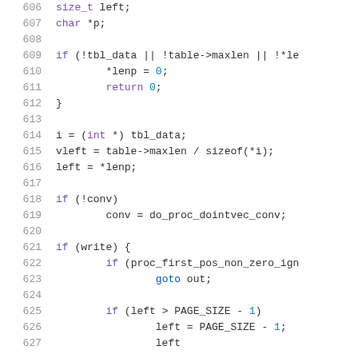[Figure (screenshot): Source code listing in C, lines 606-626+, showing a function handling table data with integer vector conversion logic. Dark text on white background with line numbers on the left and syntax highlighting.]